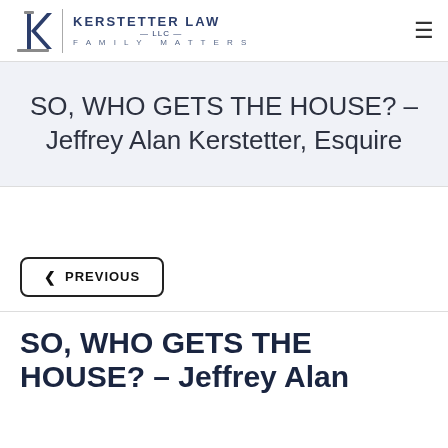KERSTETTER LAW LLC FAMILY MATTERS
SO, WHO GETS THE HOUSE? – Jeffrey Alan Kerstetter, Esquire
PREVIOUS
SO, WHO GETS THE HOUSE? – Jeffrey Alan